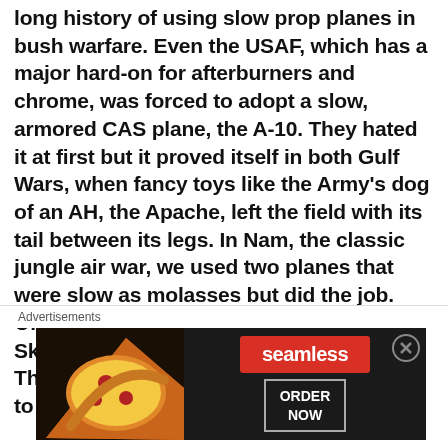long history of using slow prop planes in bush warfare. Even the USAF, which has a major hard-on for afterburners and chrome, was forced to adopt a slow, armored CAS plane, the A-10. They hated it at first but it proved itself in both Gulf Wars, when fancy toys like the Army's dog of an AH, the Apache, left the field with its tail between its legs. In Nam, the classic jungle air war, we used two planes that were slow as molasses but did the job. One of the best and ugliest was the A-1 Skyraider, a chunky WW II style plugger. The USAF hated it and was always trying to twist combat reports to make the F-
Advertisements
[Figure (photo): Seamless food delivery advertisement showing pizza on the left and the Seamless logo with an 'ORDER NOW' button on the right]